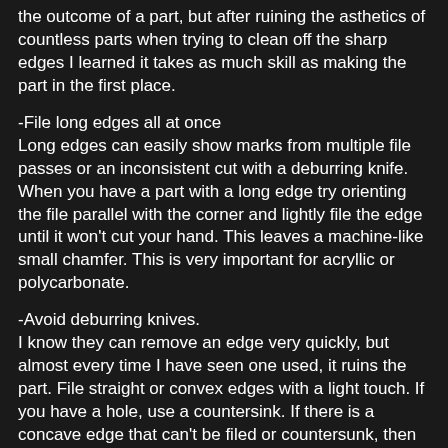the outcome of a part, but after ruining the asthetics of countless parts when trying to clean off the sharp edges I learned it takes as much skill as making the part in the first place.
-File long edges all at once
Long edges can easily show marks from multiple file passes or an inconsistent cut with a deburring knife. When you have a part with a long edge try orienting the file parallel with the corner and lightly file the edge until it won't cut your hand. This leaves a machine-like small chamfer. This is very important for acryllic or polycarbonate.
-Avoid deburring knives.
I know they can remove an edge very quickly, but almost every time I have seen one used, it ruins the part. File straight or convex edges with a light touch. If you have a hole, use a countersink. If there is a concave edge that can't be filed or countersunk, then you can use the deburring knife. They are really only meant for concave surfaces, so they work acceptably if you are careful to maintain a consistent chip.